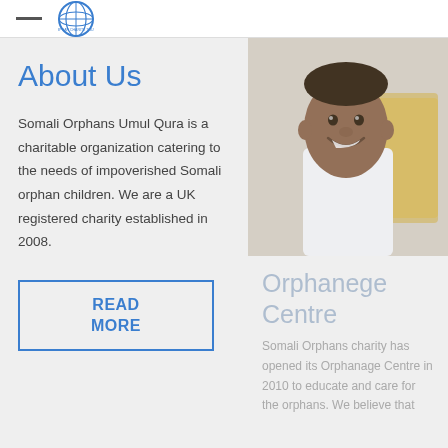Somali Orphans Charity - header with logo
About Us
Somali Orphans Umul Qura is a charitable organization catering to the needs of impoverished Somali orphan children. We are a UK registered charity established in 2008.
READ MORE
[Figure (photo): Photo of a smiling Somali boy in a white shirt with other children in yellow uniforms in the background]
Orphanege Centre
Somali Orphans charity has opened its Orphanage Centre in 2010 to educate and care for the orphans. We believe that